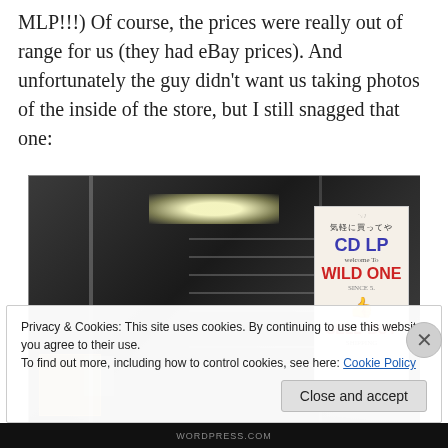MLP!!!) Of course, the prices were really out of range for us (they had eBay prices). And unfortunately the guy didn't want us taking photos of the inside of the store, but I still snagged that one:
[Figure (photo): Interior/exterior of a Japanese record store called Wild One, showing shelves of CDs/LPs through a glass window, with a sign on the right reading 'CD LP WILD ONE SELL BUY' in Japanese and English.]
Privacy & Cookies: This site uses cookies. By continuing to use this website, you agree to their use.
To find out more, including how to control cookies, see here: Cookie Policy
Close and accept